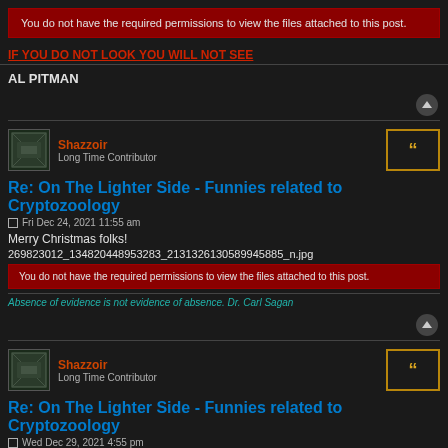You do not have the required permissions to view the files attached to this post.
IF YOU DO NOT LOOK YOU WILL NOT SEE
AL PITMAN
Shazzoir
Long Time Contributor
Re: On The Lighter Side - Funnies related to Cryptozoology
Fri Dec 24, 2021 11:55 am
Merry Christmas folks!
269823012_134820448953283_2131326130589945885_n.jpg
You do not have the required permissions to view the files attached to this post.
Absence of evidence is not evidence of absence. Dr. Carl Sagan
Shazzoir
Long Time Contributor
Re: On The Lighter Side - Funnies related to Cryptozoology
Wed Dec 29, 2021 4:55 pm